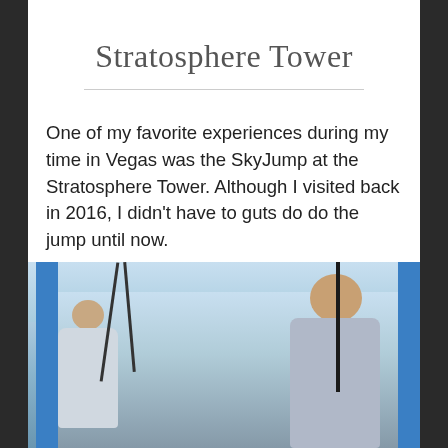Stratosphere Tower
One of my favorite experiences during my time in Vegas was the SkyJump at the Stratosphere Tower. Although I visited back in 2016, I didn't have to guts do do the jump until now.
[Figure (photo): Two smiling people in harnesses at the top of the Stratosphere Tower SkyJump platform, with blue tower structures visible and Las Vegas skyline in background]